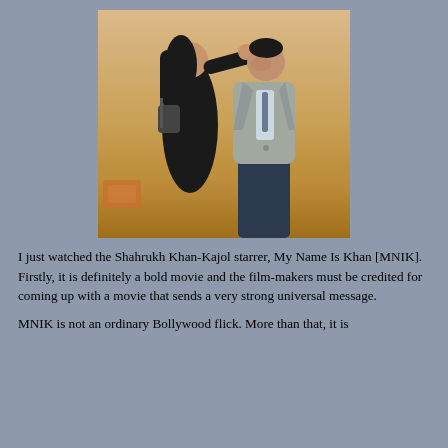[Figure (photo): A movie promotional photo showing two actors — a woman in a black coat with a bag touching the face of a man in a grey suit, against a golden/amber background. This appears to be from the Bollywood film 'My Name Is Khan' starring Shahrukh Khan and Kajol.]
I just watched the Shahrukh Khan-Kajol starrer, My Name Is Khan [MNIK]. Firstly, it is definitely a bold movie and the film-makers must be credited for coming up with a movie that sends a very strong universal message.
MNIK is not an ordinary Bollywood flick. More than that, it is...